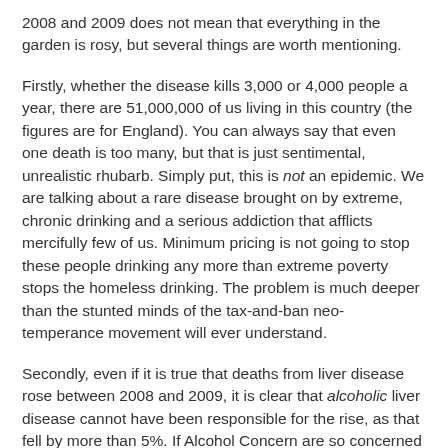2008 and 2009 does not mean that everything in the garden is rosy, but several things are worth mentioning.
Firstly, whether the disease kills 3,000 or 4,000 people a year, there are 51,000,000 of us living in this country (the figures are for England). You can always say that even one death is too many, but that is just sentimental, unrealistic rhubarb. Simply put, this is not an epidemic. We are talking about a rare disease brought on by extreme, chronic drinking and a serious addiction that afflicts mercifully few of us. Minimum pricing is not going to stop these people drinking any more than extreme poverty stops the homeless drinking. The problem is much deeper than the stunted minds of the tax-and-ban neo-temperance movement will ever understand.
Secondly, even if it is true that deaths from liver disease rose between 2008 and 2009, it is clear that alcoholic liver disease cannot have been responsible for the rise, as that fell by more than 5%. If Alcohol Concern are so concerned about the overall rate reaching "record levels", perhaps they should look at the underlying causes of the non-alcohol